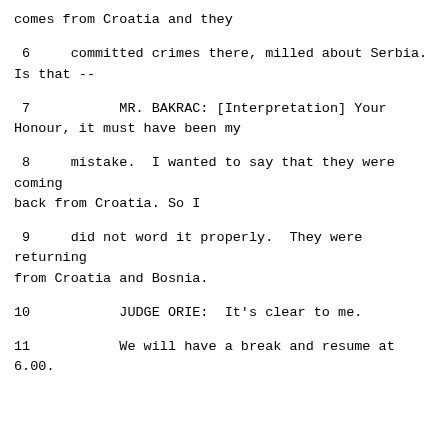comes from Croatia and they
6     committed crimes there, milled about Serbia.
Is that --
7           MR. BAKRAC: [Interpretation] Your
Honour, it must have been my
8     mistake.  I wanted to say that they were coming
back from Croatia. So I
9     did not word it properly.  They were returning
from Croatia and Bosnia.
10           JUDGE ORIE:  It's clear to me.
11           We will have a break and resume at
6.00.